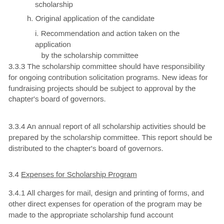scholarship
h. Original application of the candidate
i. Recommendation and action taken on the application by the scholarship committee
3.3.3 The scholarship committee should have responsibility for ongoing contribution solicitation programs. New ideas for fundraising projects should be subject to approval by the chapter's board of governors.
3.3.4 An annual report of all scholarship activities should be prepared by the scholarship committee. This report should be distributed to the chapter's board of governors.
3.4 Expenses for Scholarship Program
3.4.1 All charges for mail, design and printing of forms, and other direct expenses for operation of the program may be made to the appropriate scholarship fund account